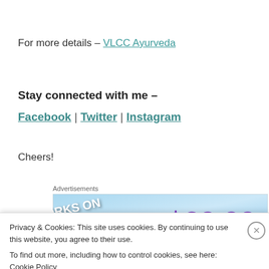For more details – VLCC Ayurveda
Stay connected with me –
Facebook | Twitter | Instagram
Cheers!
Advertisements
[Figure (other): Advertisement banner showing 'WORKS ON THE APP' text and '$39.99' price on a blue background]
Privacy & Cookies: This site uses cookies. By continuing to use this website, you agree to their use.
To find out more, including how to control cookies, see here: Cookie Policy
Close and accept